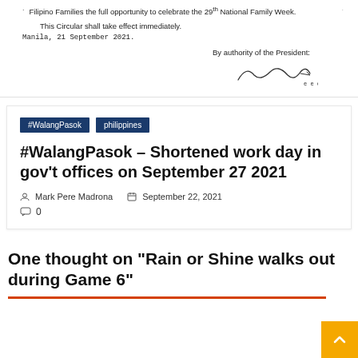Filipino Families the full opportunity to celebrate the 29th National Family Week.
This Circular shall take effect immediately.
Manila, 21 September 2021.
By authority of the President:
[Figure (other): Handwritten signature]
#WalangPasok  philippines
#WalangPasok – Shortened work day in gov't offices on September 27 2021
Mark Pere Madrona   September 22, 2021   0
One thought on “Rain or Shine walks out during Game 6”